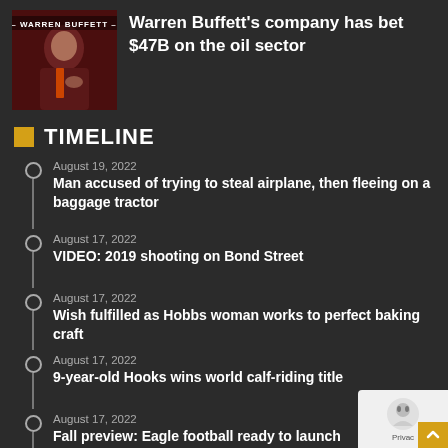[Figure (photo): Photo of Warren Buffett with text overlay '- WARREN BUFFETT -' on dark red background]
Warren Buffett's company has bet $47B on the oil sector
TIMELINE
August 19, 2022
Man accused of trying to steal airplane, then fleeing on a baggage tractor
August 17, 2022
VIDEO: 2019 shooting on Bond Street
August 17, 2022
Wish fulfilled as Hobbs woman works to perfect baking craft
August 17, 2022
9-year-old Hooks wins world calf-riding title
August 17, 2022
Fall preview: Eagle football ready to launch